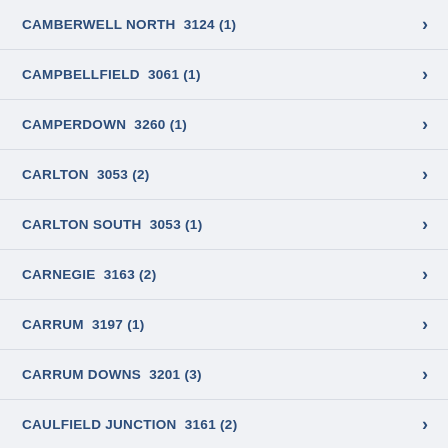CAMBERWELL NORTH  3124 (1)
CAMPBELLFIELD  3061 (1)
CAMPERDOWN  3260 (1)
CARLTON  3053 (2)
CARLTON SOUTH  3053 (1)
CARNEGIE  3163 (2)
CARRUM  3197 (1)
CARRUM DOWNS  3201 (3)
CAULFIELD JUNCTION  3161 (2)